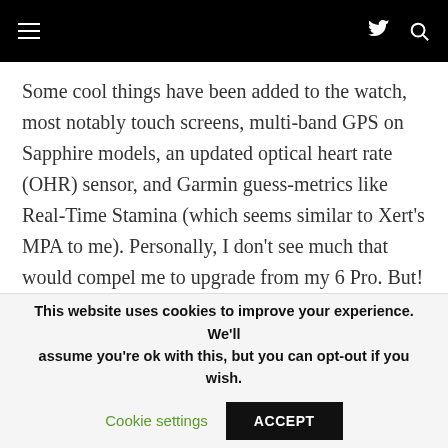Navigation bar with hamburger menu, Twitter icon, and search icon
Some cool things have been added to the watch, most notably touch screens, multi-band GPS on Sapphire models, an updated optical heart rate (OHR) sensor, and Garmin guess-metrics like Real-Time Stamina (which seems similar to Xert’s MPA to me). Personally, I don’t see much that would compel me to upgrade from my 6 Pro. But! It is…
This website uses cookies to improve your experience. We’ll assume you’re ok with this, but you can opt-out if you wish.
Cookie settings  ACCEPT